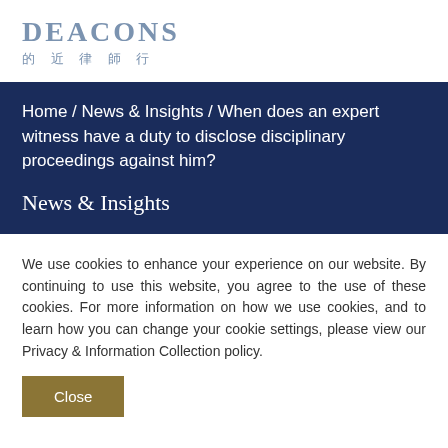[Figure (logo): Deacons law firm logo with Chinese characters 的近律師行]
Home / News & Insights / When does an expert witness have a duty to disclose disciplinary proceedings against him?
News & Insights
We use cookies to enhance your experience on our website. By continuing to use this website, you agree to the use of these cookies. For more information on how we use cookies, and to learn how you can change your cookie settings, please view our Privacy & Information Collection policy.
Close